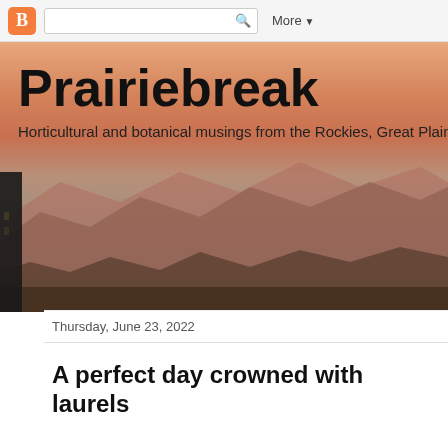Blogger toolbar with search and More menu
Prairiebreak
Horticultural and botanical musings from the Rockies, Great Plains an
Thursday, June 23, 2022
A perfect day crowned with laurels
[Figure (photo): Close-up photo of pink mountain laurel flowers (Kalmia latifolia) with bright green leaves]